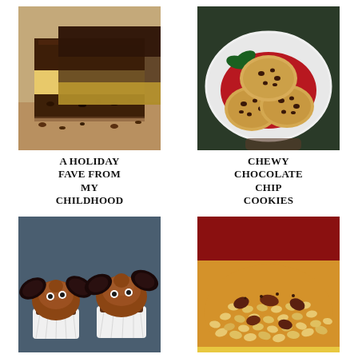[Figure (photo): Layered chocolate nanaimo bars stacked on a surface, showing chocolate top layer, custard middle, and chocolate-coconut base]
A HOLIDAY FAVE FROM MY CHILDHOOD
[Figure (photo): Chewy chocolate chip cookies piled on a white plate with red and green decoration, held by a person]
CHEWY CHOCOLATE CHIP COOKIES
[Figure (photo): Two Halloween bat cupcakes decorated with Oreo cookie wings and candy eyes on chocolate frosting, in white paper liners]
A LAST
[Figure (photo): Bowl of cooked beans and sausage/meat mixture with spices on a red background]
LUCKY